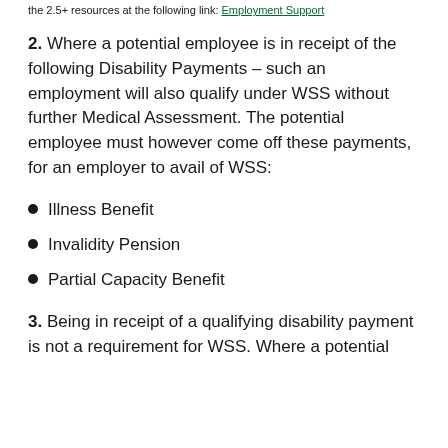the 2.5+ resources at the following link: Employment Support
2. Where a potential employee is in receipt of the following Disability Payments – such an employment will also qualify under WSS without further Medical Assessment. The potential employee must however come off these payments, for an employer to avail of WSS:
Illness Benefit
Invalidity Pension
Partial Capacity Benefit
3. Being in receipt of a qualifying disability payment is not a requirement for WSS. Where a potential employee...